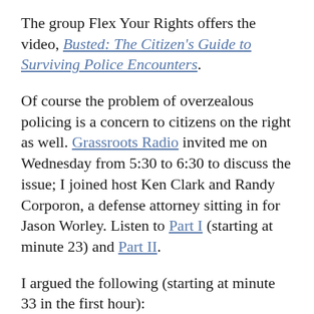The group Flex Your Rights offers the video, Busted: The Citizen's Guide to Surviving Police Encounters.
Of course the problem of overzealous policing is a concern to citizens on the right as well. Grassroots Radio invited me on Wednesday from 5:30 to 6:30 to discuss the issue; I joined host Ken Clark and Randy Corporon, a defense attorney sitting in for Jason Worley. Listen to Part I (starting at minute 23) and Part II.
I argued the following (starting at minute 33 in the first hour):
Here's my concern. With these quasi–